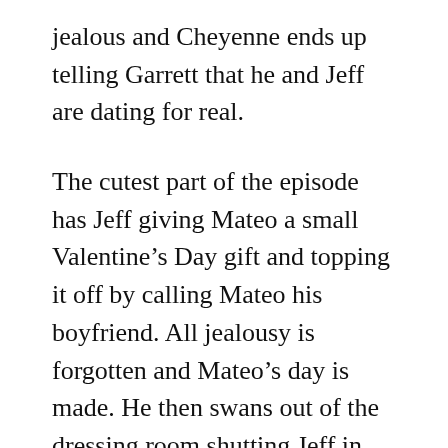jealous and Cheyenne ends up telling Garrett that he and Jeff are dating for real.
The cutest part of the episode has Jeff giving Mateo a small Valentine’s Day gift and topping it off by calling Mateo his boyfriend. All jealousy is forgotten and Mateo’s day is made. He then swans out of the dressing room shutting Jeff in.
Amy and Jonah have a splendid moment breaking up all the Valentine’s Day signage, a move that is slightly reminiscent of the forklift mayhem in